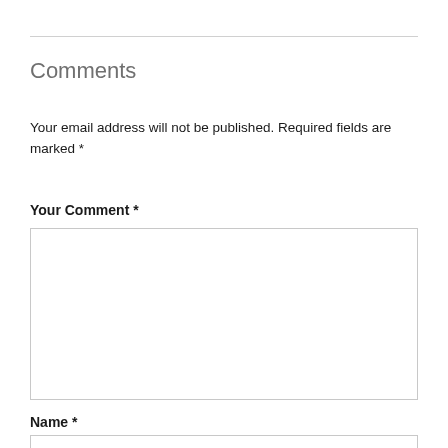Comments
Your email address will not be published. Required fields are marked *
Your Comment *
[Figure (other): Empty textarea input box for comment entry]
Name *
[Figure (other): Empty single-line text input box for name entry]